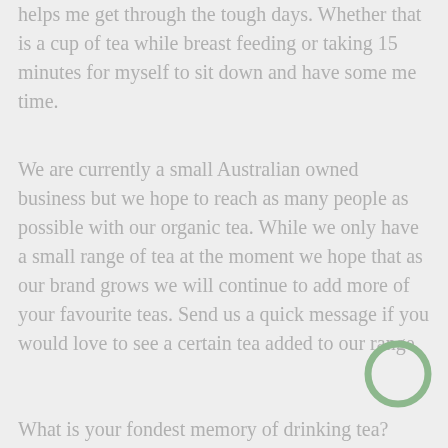helps me get through the tough days. Whether that is a cup of tea while breast feeding or taking 15 minutes for myself to sit down and have some me time.
We are currently a small Australian owned business but we hope to reach as many people as possible with our organic tea. While we only have a small range of tea at the moment we hope that as our brand grows we will continue to add more of your favourite teas. Send us a quick message if you would love to see a certain tea added to our range.
What is your fondest memory of drinking tea?
[Figure (logo): A green ring/circle logo element in the bottom right corner]